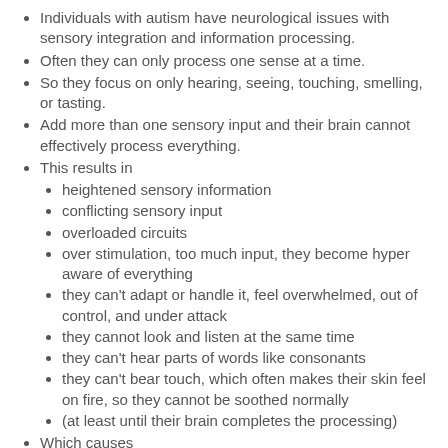Individuals with autism have neurological issues with sensory integration and information processing.
Often they can only process one sense at a time.
So they focus on only hearing, seeing, touching, smelling, or tasting.
Add more than one sensory input and their brain cannot effectively process everything.
This results in
heightened sensory information
conflicting sensory input
overloaded circuits
over stimulation, too much input, they become hyper aware of everything
they can't adapt or handle it, feel overwhelmed, out of control, and under attack
they cannot look and listen at the same time
they can't hear parts of words like consonants
they can't bear touch, which often makes their skin feel on fire, so they cannot be soothed normally
(at least until their brain completes the processing)
Which causes
The downward spiral of the “Sensory Funnel” coined by Asperger